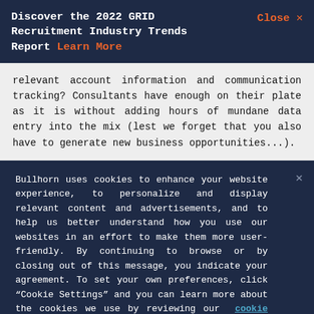Discover the 2022 GRID Recruitment Industry Trends Report Learn More   Close X
relevant account information and communication tracking? Consultants have enough on their plate as it is without adding hours of mundane data entry into the mix (lest we forget that you also have to generate new business opportunities...).
Bullhorn uses cookies to enhance your website experience, to personalize and display relevant content and advertisements, and to help us better understand how you use our websites in an effort to make them more user-friendly. By continuing to browse or by closing out of this message, you indicate your agreement. To set your own preferences, click "Cookie Settings" and you can learn more about the cookies we use by reviewing our cookie policy.
Cookies Settings